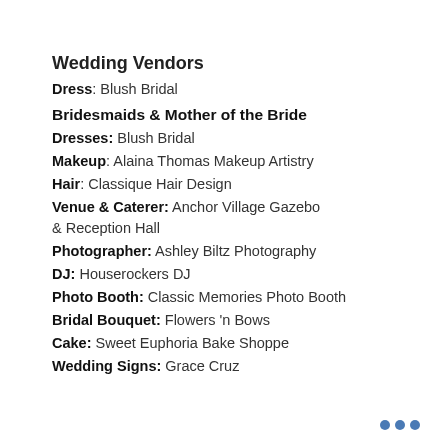Wedding Vendors
Dress: Blush Bridal
Bridesmaids & Mother of the Bride
Dresses: Blush Bridal
Makeup: Alaina Thomas Makeup Artistry
Hair: Classique Hair Design
Venue & Caterer: Anchor Village Gazebo & Reception Hall
Photographer: Ashley Biltz Photography
DJ: Houserockers DJ
Photo Booth: Classic Memories Photo Booth
Bridal Bouquet: Flowers 'n Bows
Cake: Sweet Euphoria Bake Shoppe
Wedding Signs: Grace Cruz